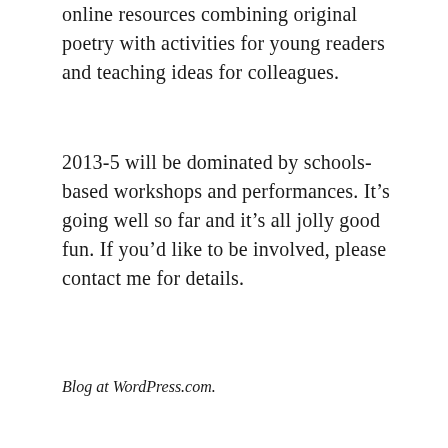online resources combining original poetry with activities for young readers and teaching ideas for colleagues.
2013-5 will be dominated by schools-based workshops and performances. It’s going well so far and it’s all jolly good fun. If you’d like to be involved, please contact me for details.
Blog at WordPress.com.